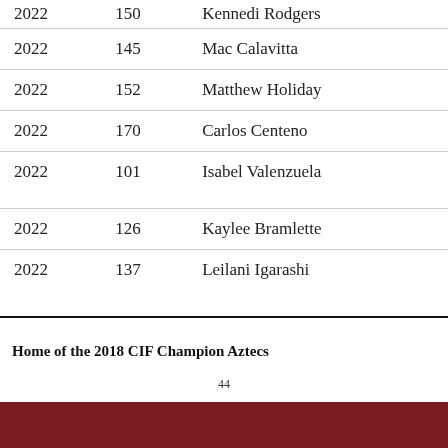| Year | Weight | Name |  |
| --- | --- | --- | --- |
| 2022 | 150 | Kennedi Rodgers |  |
| 2022 | 145 | Mac Calavitta |  |
| 2022 | 152 | Matthew Holiday |  |
| 2022 | 170 | Carlos Centeno |  |
| 2022 | 101 | Isabel Valenzuela |  |
| 2022 | 126 | Kaylee Bramlette |  |
| 2022 | 137 | Leilani Igarashi |  |
Home of the 2018 CIF Champion Aztecs
44